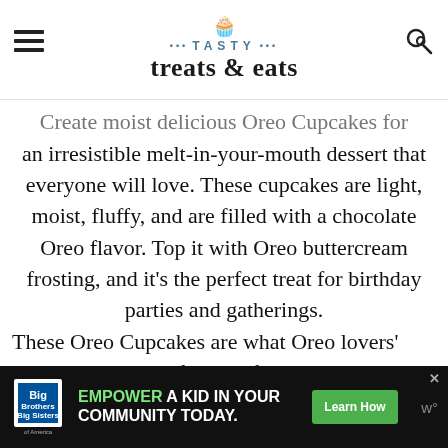TASTY treats & eats
Create moist delicious Oreo Cupcakes for an irresistible melt-in-your-mouth dessert that everyone will love. These cupcakes are light, moist, fluffy, and are filled with a chocolate Oreo flavor. Top it with Oreo buttercream frosting, and it's the perfect treat for birthday parties and gatherings.
These Oreo Cupcakes are what Oreo lovers' dreams are made of. Made from scratch, these cupcakes have a soft texture that's filled with...
[Figure (infographic): Advertisement banner: Big Brothers Big Sisters of America. Text: EMPOWER A KID IN YOUR COMMUNITY TODAY. Button: Learn How]